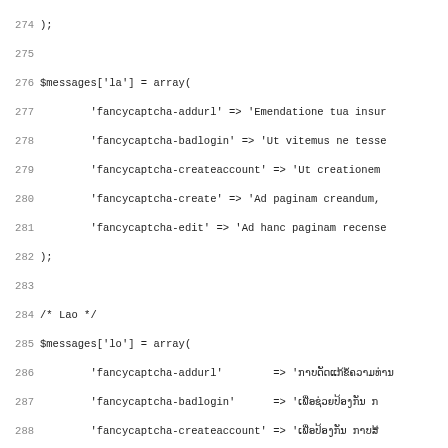Code listing lines 274-305 showing PHP language array definitions for fancycaptcha messages in Latin (la), Lao (lo), and Dutch (nl) locales.